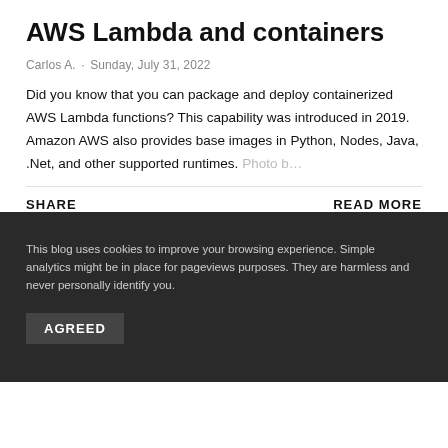AWS Lambda and containers
Carlos A. · Sunday, July 31, 2022
Did you know that you can package and deploy containerized AWS Lambda functions? This capability was introduced in 2019. Amazon AWS also provides base images in Python, Nodes, Java, .Net, and other supported runtimes. Photo b…
SHARE
READ MORE
This blog uses cookies to improve your browsing experience. Simple analytics might be in place for pageviews purposes. They are harmless and never personally identify you.
AGREED